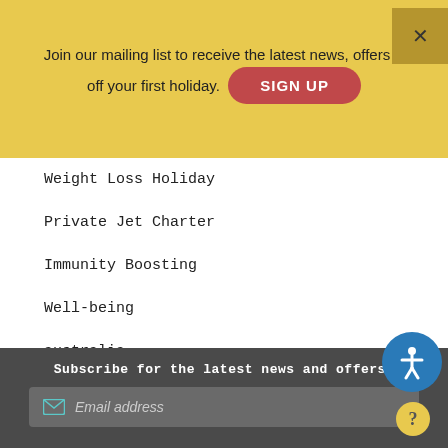Join our mailing list to receive the latest news, offers & off your first holiday.
SIGN UP
Weight Loss Holiday
Private Jet Charter
Immunity Boosting
Well-being
australia
Chartered Flights
Vegetarian
Workouts
Thailand
Subscribe for the latest news and offers!
Email address